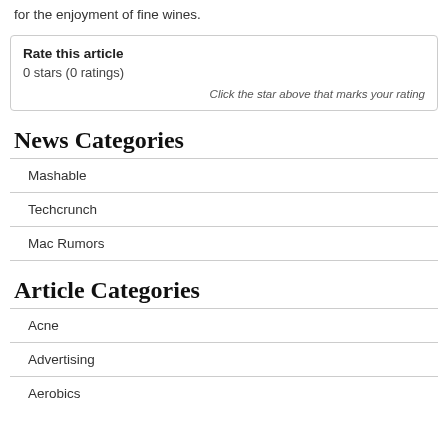for the enjoyment of fine wines.
Rate this article
0 stars (0 ratings)
Click the star above that marks your rating
News Categories
Mashable
Techcrunch
Mac Rumors
Article Categories
Acne
Advertising
Aerobics